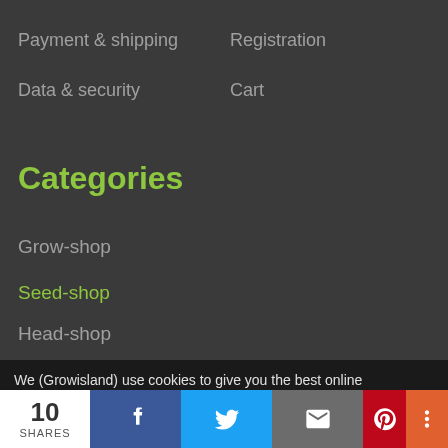Payment & shipping
Registration
Data & security
Cart
Categories
Grow-shop
Seed-shop
Head-shop
CBD-shop
Hemp-shop
Hemp plants
We (Growisland) use cookies to give you the best online experience. By using our website you agree to our use of cookies in accordance with our cookie policy. More information
10 SHARES